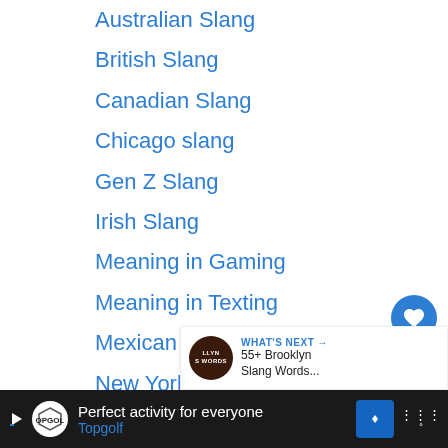Australian Slang
British Slang
Canadian Slang
Chicago slang
Gen Z Slang
Irish Slang
Meaning in Gaming
Meaning in Texting
Mexican Slang
New York Slang
Nouns
Other Words for
Positive nouns
WHAT'S NEXT → 55+ Brooklyn Slang Words...
Perfect activity for everyone Topgolf